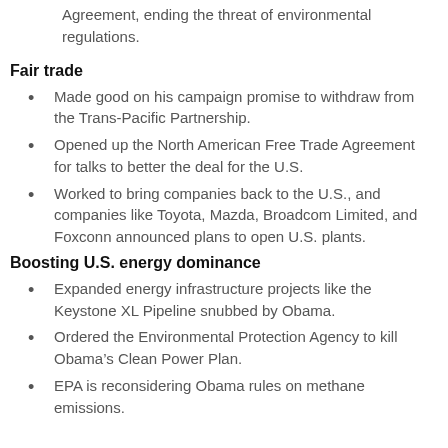Agreement, ending the threat of environmental regulations.
Fair trade
Made good on his campaign promise to withdraw from the Trans-Pacific Partnership.
Opened up the North American Free Trade Agreement for talks to better the deal for the U.S.
Worked to bring companies back to the U.S., and companies like Toyota, Mazda, Broadcom Limited, and Foxconn announced plans to open U.S. plants.
Boosting U.S. energy dominance
Expanded energy infrastructure projects like the Keystone XL Pipeline snubbed by Obama.
Ordered the Environmental Protection Agency to kill Obama’s Clean Power Plan.
EPA is reconsidering Obama rules on methane emissions.